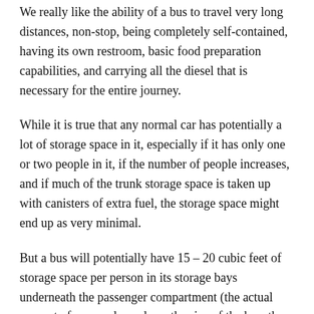We really like the ability of a bus to travel very long distances, non-stop, being completely self-contained, having its own restroom, basic food preparation capabilities, and carrying all the diesel that is necessary for the entire journey.
While it is true that any normal car has potentially a lot of storage space in it, especially if it has only one or two people in it, if the number of people increases, and if much of the trunk storage space is taken up with canisters of extra fuel, the storage space might end up as very minimal.
But a bus will potentially have 15 – 20 cubic feet of storage space per person in its storage bays underneath the passenger compartment (the actual amount of course depends on the size of the bus, the number of people, and how much space might be taken up with spare parts for the bus and extra fuel).  In addition, assuming the